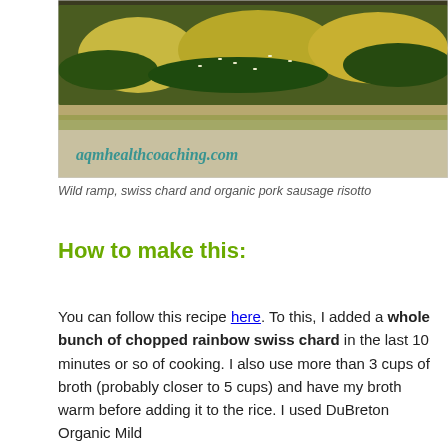[Figure (photo): Close-up photo of wild ramp, swiss chard and organic pork sausage risotto dish. Website watermark 'aqmhealthcoaching.com' in teal text visible on the lower left of the image.]
Wild ramp, swiss chard and organic pork sausage risotto
How to make this:
You can follow this recipe here. To this, I added a whole bunch of chopped rainbow swiss chard in the last 10 minutes or so of cooking. I also use more than 3 cups of broth (probably closer to 5 cups) and have my broth warm before adding it to the rice. I used DuBreton Organic Mild